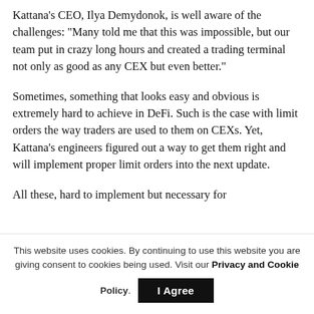Kattana's CEO, Ilya Demydonok, is well aware of the challenges: "Many told me that this was impossible, but our team put in crazy long hours and created a trading terminal not only as good as any CEX but even better."
Sometimes, something that looks easy and obvious is extremely hard to achieve in DeFi. Such is the case with limit orders the way traders are used to them on CEXs. Yet, Kattana's engineers figured out a way to get them right and will implement proper limit orders into the next update.
All these, hard to implement but necessary for
This website uses cookies. By continuing to use this website you are giving consent to cookies being used. Visit our Privacy and Cookie Policy.